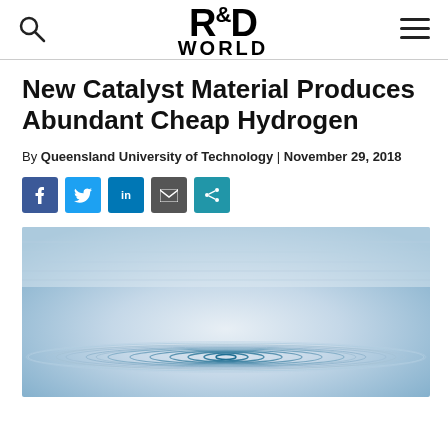R&D WORLD
New Catalyst Material Produces Abundant Cheap Hydrogen
By Queensland University of Technology | November 29, 2018
[Figure (infographic): Social sharing buttons: Facebook, Twitter, LinkedIn, Email, Share]
[Figure (photo): Water ripples spreading outward from a central drop point, blue and white tones, aerial view]